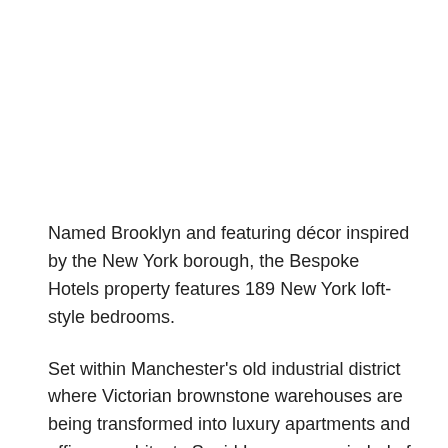Named Brooklyn and featuring décor inspired by the New York borough, the Bespoke Hotels property features 189 New York loft-style bedrooms.
Set within Manchester's old industrial district where Victorian brownstone warehouses are being transformed into luxury apartments and offices, architects Squid Inc were reminded of Brooklyn and wanted to channel that into the hotel's design.